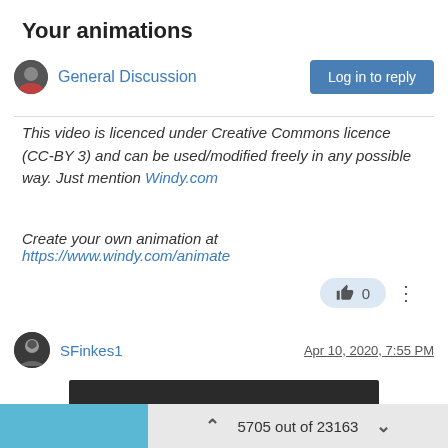Your animations
General Discussion
Log in to reply
This video is licenced under Creative Commons licence (CC-BY 3) and can be used/modified freely in any possible way. Just mention Windy.com
Create your own animation at https://www.windy.com/animate
0
SFinkes1
Apr 10, 2020, 7:55 PM
[Figure (screenshot): Dark/black video thumbnail or embedded content area]
5705 out of 23163